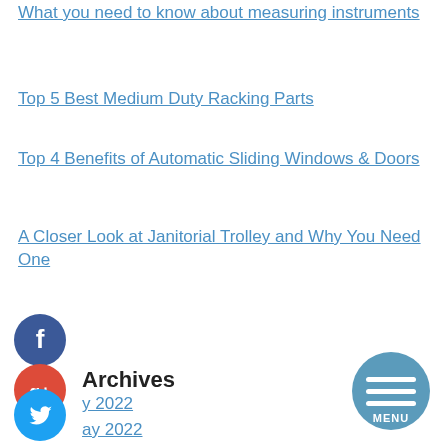What you need to know about measuring instruments
Top 5 Best Medium Duty Racking Parts
Top 4 Benefits of Automatic Sliding Windows & Doors
A Closer Look at Janitorial Trolley and Why You Need One
[Figure (illustration): Facebook social icon (blue circle with white F)]
[Figure (illustration): Google Plus social icon (red circle with g+)]
[Figure (illustration): Twitter social icon (blue circle with white bird)]
[Figure (illustration): Add/Plus social icon (dark circle with white +)]
Archives
y 2022
ay 2022
March 2022
February 2022
[Figure (illustration): Circular MENU button with three horizontal lines on blue background]